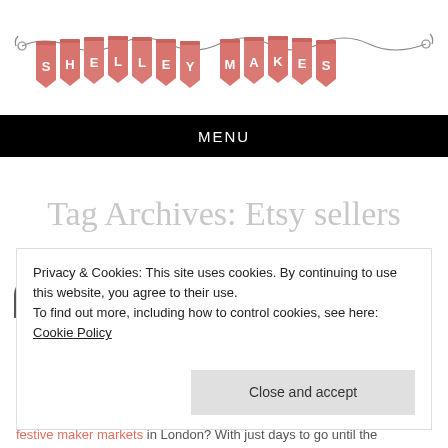[Figure (logo): Shelley Makes banner logo — bunting flags in pink/salmon spelling out SHELLEY MAKES, hung on a string with decorative ends]
MENU
Tag Archives: Etsy sellers
Privacy & Cookies: This site uses cookies. By continuing to use this website, you agree to their use.
To find out more, including how to control cookies, see here: Cookie Policy
Close and accept
festive maker markets in London? With just days to go until the